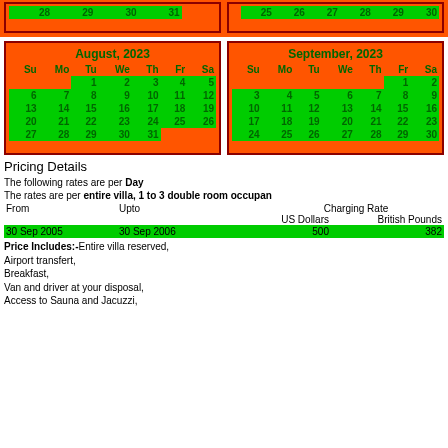[Figure (other): Top partial calendar row showing dates 28 29 30 31 (left) and 25 26 27 28 29 30 (right) on orange background]
[Figure (other): August 2023 calendar on orange background with green date cells]
[Figure (other): September 2023 calendar on orange background with green date cells]
Pricing Details
The following rates are per Day
The rates are per entire villa, 1 to 3 double room occupan
| From | Upto | Charging Rate US Dollars | Charging Rate British Pounds |
| --- | --- | --- | --- |
| 30 Sep 2005 | 30 Sep 2006 | 500 | 382 |
Price Includes:-Entire villa reserved,
Airport transfert,
Breakfast,
Van and driver at your disposal,
Access to Sauna and Jacuzzi,